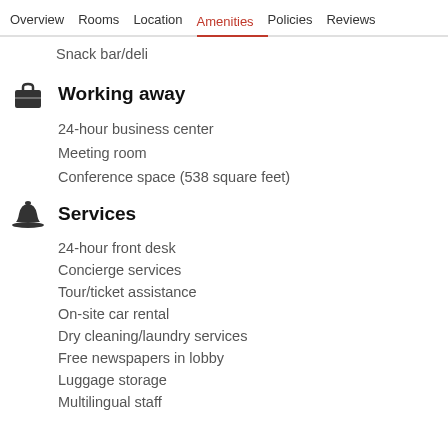Overview  Rooms  Location  Amenities  Policies  Reviews
Snack bar/deli
Working away
24-hour business center
Meeting room
Conference space (538 square feet)
Services
24-hour front desk
Concierge services
Tour/ticket assistance
On-site car rental
Dry cleaning/laundry services
Free newspapers in lobby
Luggage storage
Multilingual staff